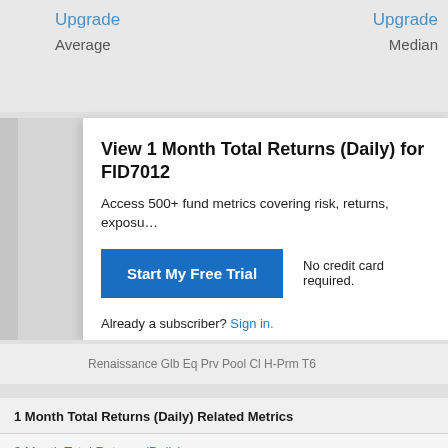Upgrade
Average
Upgrade
Median
View 1 Month Total Returns (Daily) for FID7012
Access 500+ fund metrics covering risk, returns, exposu…
Start My Free Trial
No credit card required.
Already a subscriber? Sign in.
Renaissance Glb Eq Prv Pool Cl H-Prm T6
1 Month Total Returns (Daily) Related Metrics
3 Month Total Returns (Daily)